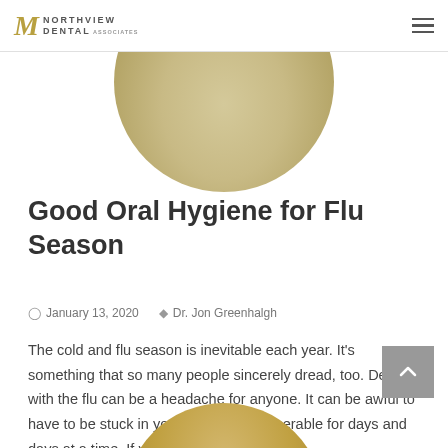Northview Dental Associates
[Figure (illustration): Circular cropped photo showing a close-up of lips/face, beige/tan color tones]
Good Oral Hygiene for Flu Season
January 13, 2020   Dr. Jon Greenhalgh
The cold and flu season is inevitable each year. It's something that so many people sincerely dread, too. Dealing with the flu can be a headache for anyone. It can be awful to have to be stuck in your bed feeling miserable for days and days at a time. If you want to feel as...
[Figure (photo): Partial circular cropped photo at bottom of page, gold/bronze tones]